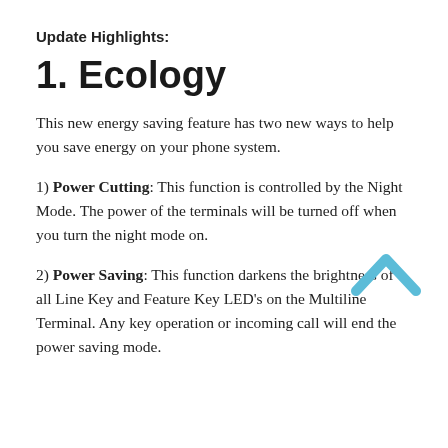Update Highlights:
1.  Ecology
This new energy saving feature has two new ways to help you save energy on your phone system.
1) Power Cutting: This function is controlled by the Night Mode. The power of the terminals will be turned off when you turn the night mode on.
2) Power Saving: This function darkens the brightness of all Line Key and Feature Key LED's on the Multiline Terminal. Any key operation or incoming call will end the power saving mode.